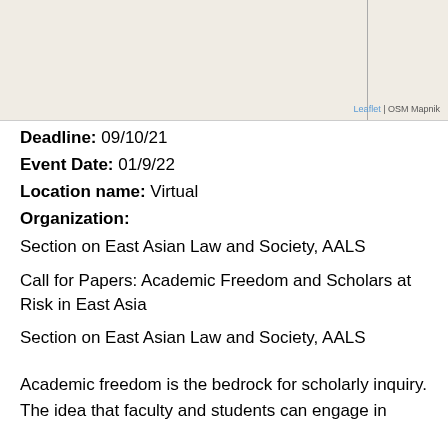[Figure (map): Partial map view with light beige background and a vertical line divider, showing Leaflet | OSM Mapnik attribution at bottom right]
Deadline: 09/10/21
Event Date: 01/9/22
Location name: Virtual
Organization:
Section on East Asian Law and Society, AALS
Call for Papers: Academic Freedom and Scholars at Risk in East Asia
Section on East Asian Law and Society, AALS
Academic freedom is the bedrock for scholarly inquiry. The idea that faculty and students can engage in